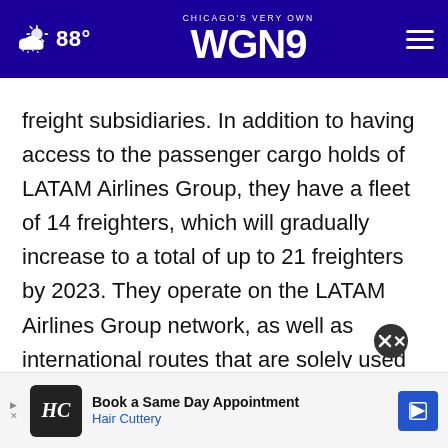CHICAGO'S VERY OWN WGN9 | 88°
freight subsidiaries. In addition to having access to the passenger cargo holds of LATAM Airlines Group, they have a fleet of 14 freighters, which will gradually increase to a total of up to 21 freighters by 2023. They operate on the LATAM Airlines Group network, as well as international routes that are solely used for shipping. They offer modern Infrastructure, a wide variety of services and protection options to meet all customer
[Figure (other): Advertisement banner: Book a Same Day Appointment - Hair Cuttery, with HC logo and navigation arrow icon]